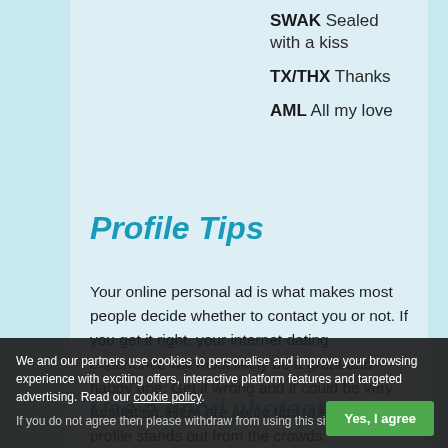SWAK Sealed with a kiss
TX/THX Thanks
AML All my love
Profile Tips
Your online personal ad is what makes most people decide whether to contact you or not. If you get it right, your internet dating experience will most likely be a great and happy one. Get it wrong and it could be very frustrating. Here are some tips to ensure your profile stands out from the crowds.
Use a good photogra...
We and our partners use cookies to personalise and improve your browsing experience with exciting offers, interactive platform features and targeted advertising. Read our cookie policy. If you do not agree then please withdraw from using this site.